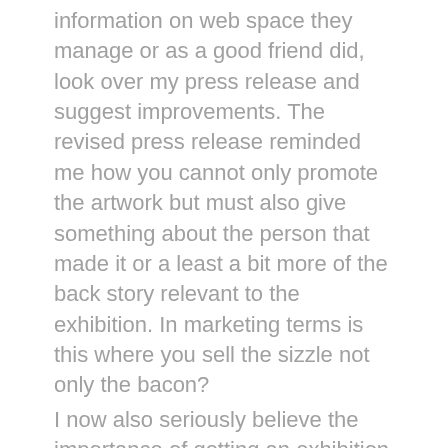information on web space they manage or as a good friend did, look over my press release and suggest improvements. The revised press release reminded me how you cannot only promote the artwork but must also give something about the person that made it or a least a bit more of the back story relevant to the exhibition. In marketing terms is this where you sell the sizzle not only the bacon?
I now also seriously believe the importance of getting an exhibition reviewed. Whether this is a critical review or a question and answer session the result can be part of the documentation about something that happened in a public event and not only recorded in someone's curriculum vitae.
I intend to encourage other artists I meet with in Essex, to engage in the practice of reviewing and publishing as I think this will be mutually beneficial, raising the profile of